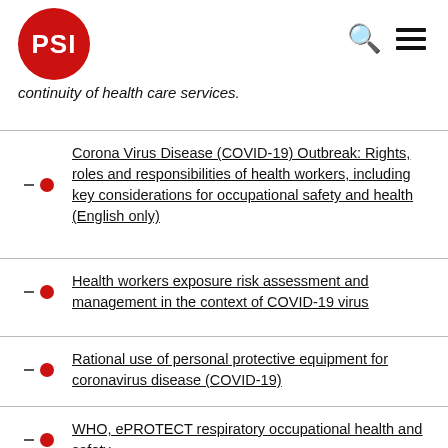PSI
continuity of health care services.
Corona Virus Disease (COVID-19) Outbreak: Rights, roles and responsibilities of health workers, including key considerations for occupational safety and health (English only)
Health workers exposure risk assessment and management in the context of COVID-19 virus
Rational use of personal protective equipment for coronavirus disease (COVID-19)
WHO, ePROTECT respiratory occupational health and safety